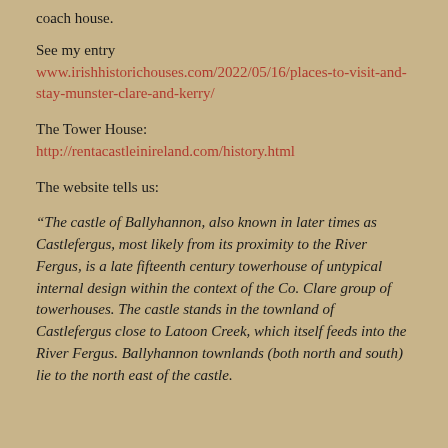coach house.
See my entry
www.irishhistorichouses.com/2022/05/16/places-to-visit-and-stay-munster-clare-and-kerry/
The Tower House:
http://rentacastleinireland.com/history.html
The website tells us:
“The castle of Ballyhannon, also known in later times as Castlefergus, most likely from its proximity to the River Fergus, is a late fifteenth century towerhouse of untypical internal design within the context of the Co. Clare group of towerhouses. The castle stands in the townland of Castlefergus close to Latoon Creek, which itself feeds into the River Fergus. Ballyhannon townlands (both north and south) lie to the north east of the castle.